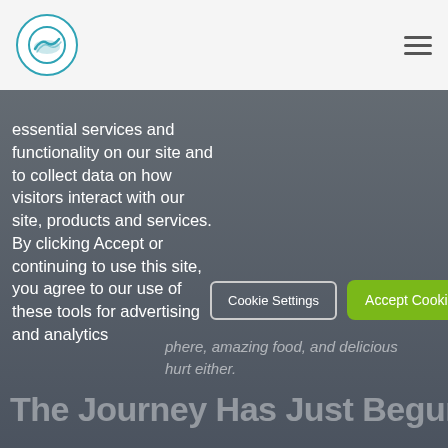Logo and navigation header
essential services and functionality on our site and to collect data on how visitors interact with our site, products and services. By clicking Accept or continuing to use this site, you agree to our use of these tools for advertising and analytics
Cookie Settings
Accept Cookies
phere, amazing food, and delicious
hurt either.
The Journey Has Just Begun